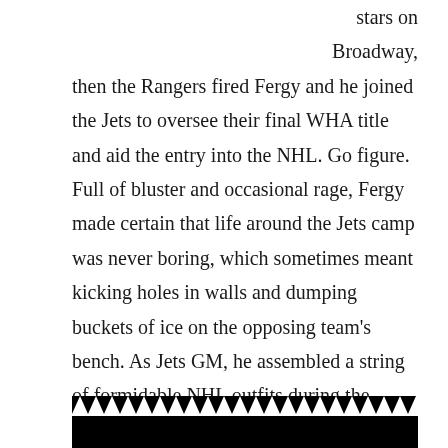stars on Broadway, then the Rangers fired Fergy and he joined the Jets to oversee their final WHA title and aid the entry into the NHL. Go figure. Full of bluster and occasional rage, Fergy made certain that life around the Jets camp was never boring, which sometimes meant kicking holes in walls and dumping buckets of ice on the opposing team's bench. As Jets GM, he assembled a string of formidable NHL outfits during the 1980s, even if he couldn't quite get them over the hump. Stars like Dale Hawerchuk, Teemu Selanne, David Babych, Thomas Steen and Dave Christian were drafted during his watch, and we won't talk about Jimmy Mann.
[Figure (photo): Black and white image with zigzag/sawtooth white pattern along the top edge against a black background, appearing to be part of a photograph at the bottom of the page.]